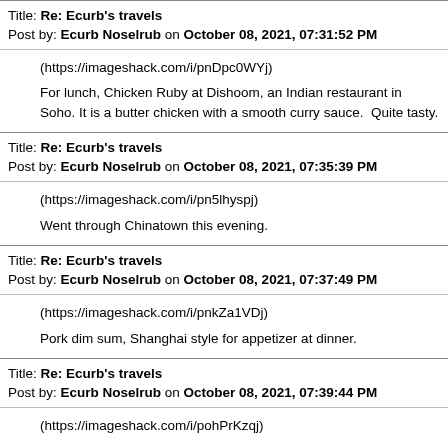Title: Re: Ecurb's travels
Post by: Ecurb Noselrub on October 08, 2021, 07:31:52 PM
(https://imageshack.com/i/pnDpc0WYj)

For lunch, Chicken Ruby at Dishoom, an Indian restaurant in Soho. It is a butter chicken with a smooth curry sauce.  Quite tasty.
Title: Re: Ecurb's travels
Post by: Ecurb Noselrub on October 08, 2021, 07:35:39 PM
(https://imageshack.com/i/pn5lhyspj)

Went through Chinatown this evening.
Title: Re: Ecurb's travels
Post by: Ecurb Noselrub on October 08, 2021, 07:37:49 PM
(https://imageshack.com/i/pnkZa1VDj)

Pork dim sum, Shanghai style for appetizer at dinner.
Title: Re: Ecurb's travels
Post by: Ecurb Noselrub on October 08, 2021, 07:39:44 PM
(https://imageshack.com/i/pohPrKzqj)